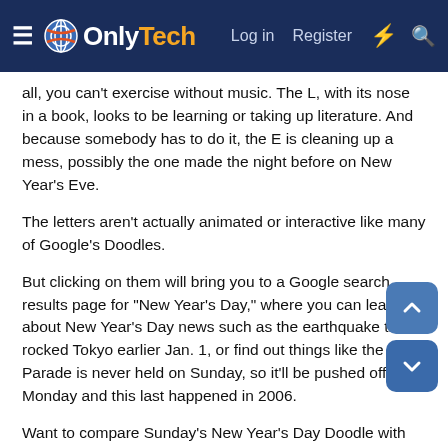OnlyTech — Log in  Register
all, you can't exercise without music. The L, with its nose in a book, looks to be learning or taking up literature. And because somebody has to do it, the E is cleaning up a mess, possibly the one made the night before on New Year's Eve.
The letters aren't actually animated or interactive like many of Google's Doodles.
But clicking on them will bring you to a Google search results page for "New Year's Day," where you can learn about New Year's Day news such as the earthquake that rocked Tokyo earlier Jan. 1, or find out things like the Rose Parade is never held on Sunday, so it'll be pushed off until Monday and this last happened in 2006.
Want to compare Sunday's New Year's Day Doodle with the 2011 version?
[Figure (other): Partial image visible at bottom of page]